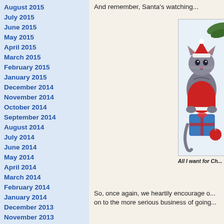August 2015
July 2015
June 2015
May 2015
April 2015
March 2015
February 2015
January 2015
December 2014
November 2014
October 2014
September 2014
August 2014
July 2014
June 2014
May 2014
April 2014
March 2014
February 2014
January 2014
December 2013
November 2013
October 2013
September 2013
August 2013
July 2013
And remember, Santa's watching...
[Figure (illustration): Illustration of a cat dressed in a red Santa outfit holding a wrapped Christmas present with blue and red gifts, with a Christmas tree branch in the upper right.]
All I want for Ch...
So, once again, we heartily encourage o... on to the more serious business of going...